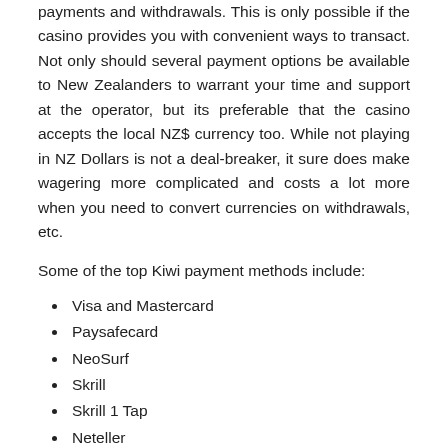payments and withdrawals. This is only possible if the casino provides you with convenient ways to transact. Not only should several payment options be available to New Zealanders to warrant your time and support at the operator, but its preferable that the casino accepts the local NZ$ currency too. While not playing in NZ Dollars is not a deal-breaker, it sure does make wagering more complicated and costs a lot more when you need to convert currencies on withdrawals, etc.
Some of the top Kiwi payment methods include:
Visa and Mastercard
Paysafecard
NeoSurf
Skrill
Skrill 1 Tap
Neteller
Jeton
EcoPayz
POL...